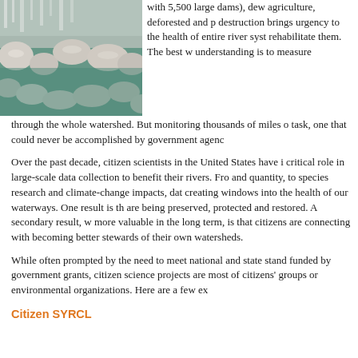[Figure (photo): A rocky river or stream with clear greenish water flowing over and around large white/gray rocks and boulders.]
with 5,500 large dams), dew agriculture, deforested and p destruction brings urgency to the health of entire river syst rehabilitate them. The best w understanding is to measure through the whole watershed. But monitoring thousands of miles o task, one that could never be accomplished by government agenc
Over the past decade, citizen scientists in the United States have i critical role in large-scale data collection to benefit their rivers. Fro and quantity, to species research and climate-change impacts, dat creating windows into the health of our waterways. One result is th are being preserved, protected and restored. A secondary result, w more valuable in the long term, is that citizens are connecting with becoming better stewards of their own watersheds.
While often prompted by the need to meet national and state stand funded by government grants, citizen science projects are most of citizens' groups or environmental organizations. Here are a few ex
Citizen SYRCL